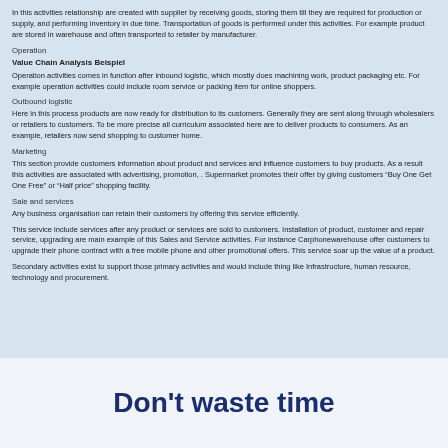In this activities relationship are created with supplier by receiving goods, storing them till they are required for production or supply, and performing inventory in due time. Transportation of goods is performed under this activities. For example product are stored in warehouse and often transported to retailer by manufacturer.
Operation
Value Chain Analysis Beispiel
Operation activities comes in function after inbound logistic, which mostly does machining work, product packaging etc. For example operation activities could include room service or packing item for online shoppers.
Outbound logistic
Here in this process products are now ready for distribution to its customers. Generally they are sent along through wholesalers or retailers to customers. To be more precise all curriculum associated here are to deliver products to consumers. As an example, retailers now send shopping to customer home.
Marketing
This section provide customers information about product and services and influence customers to buy products. As a result this activities are associated with advertising, promotion, . Supermarket promotes their offer by giving customers “buy One Get One Free” or “Half price” shopping facility.
Sale and services
Any business organisation can retain their customers by offering this service efficiently.
This service include services after any product or services are sold to customers. Installation of product, customer and repair service, upgrading are main example of this Sales and Service activities. For instance Carphonewarehouse offer customers to upgrade their phone contract with a free mobile phone and other promotional offers. This service soar up the value of a product.
Secondary activities exist to support those primary activities and would include thing like Infrastructure, human resource, technology and procurement.
Don’t waste time